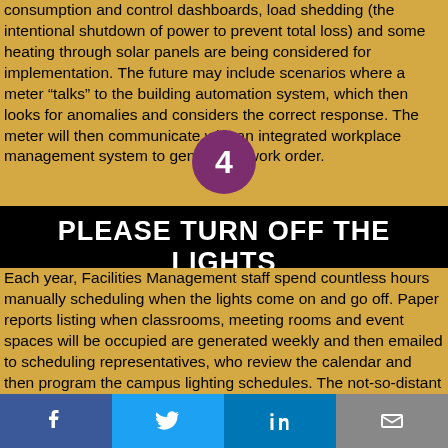consumption and control dashboards, load shedding (the intentional shutdown of power to prevent total loss) and some heating through solar panels are being considered for implementation. The future may include scenarios where a meter “talks” to the building automation system, which then looks for anomalies and considers the correct response. The meter will then communicate with an integrated workplace management system to generate a work order.
[Figure (infographic): Purple circle with white number 4 inside, representing step 4]
PLEASE TURN OFF THE LIGHTS
Each year, Facilities Management staff spend countless hours manually scheduling when the lights come on and go off. Paper reports listing when classrooms, meeting rooms and event spaces will be occupied are generated weekly and then emailed to scheduling representatives, who review the calendar and then program the campus lighting schedules. The not-so-distant future will see this process become automated. The vision is that MRU’s lights will also transmit information about their condition. Lighting fixtures will be able to relay when there is a bulb out, which then will dynamically generate a
[Figure (infographic): Social media sharing bar with Facebook, Twitter, LinkedIn, and email icons]